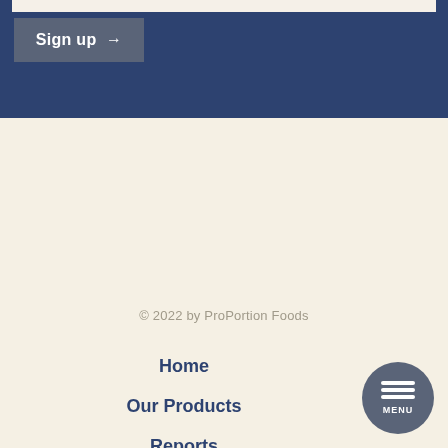Sign up →
© 2022 by ProPortion Foods
Home
Our Products
Reports
Library
Our Company
Contact Us